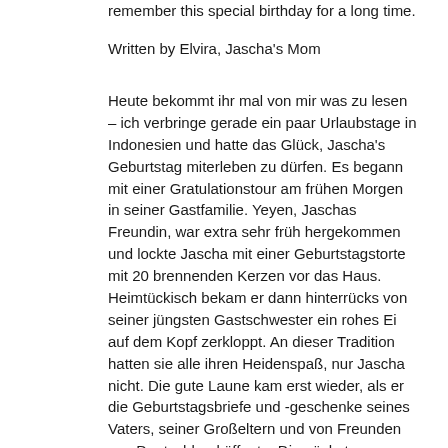remember this special birthday for a long time.
Written by Elvira, Jascha's Mom
Heute bekommt ihr mal von mir was zu lesen – ich verbringe gerade ein paar Urlaubstage in Indonesien und hatte das Glück, Jascha's Geburtstag miterleben zu dürfen. Es begann mit einer Gratulationstour am frühen Morgen in seiner Gastfamilie. Yeyen, Jaschas Freundin, war extra sehr früh hergekommen und lockte Jascha mit einer Geburtstagstorte mit 20 brennenden Kerzen vor das Haus. Heimtückisch bekam er dann hinterrücks von seiner jüngsten Gastschwester ein rohes Ei auf dem Kopf zerkloppt. An dieser Tradition hatten sie alle ihren Heidenspaß, nur Jascha nicht. Die gute Laune kam erst wieder, als er die Geburtstagsbriefe und -geschenke seines Vaters, seiner Großeltern und von Freunden aus Deutschland öffnete. Die nächste Überraschung erwartete ihn im YCM. Ausser ihm hatte ein Schüler Geburtstag, dessen Vater als Hausmeister an der Stiftung arbeitet. So brachten wir die feinen Schokoladekuchen, die Putu gebacken hatte (Herzlichen Dank, Putu!) in die Aula, wo alle